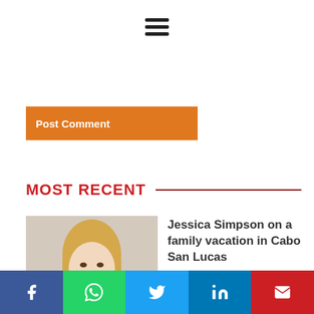[Figure (other): Hamburger menu icon (three horizontal bars)]
[Figure (other): Orange Post Comment button]
MOST RECENT
[Figure (photo): Photo of Jessica Simpson, a blonde woman]
Jessica Simpson on a family vacation in Cabo San Lucas
[Figure (other): Social share bar with Facebook, WhatsApp, Twitter, LinkedIn, and Email buttons]